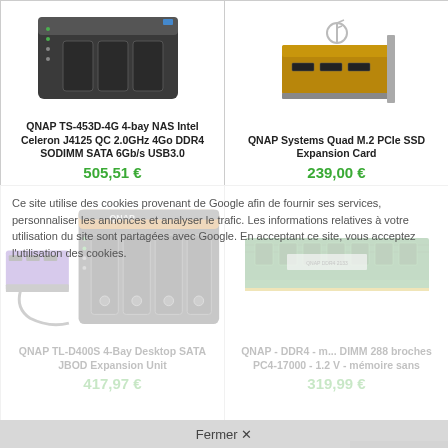[Figure (photo): QNAP TS-453D-4G 4-bay NAS product photo]
QNAP TS-453D-4G 4-bay NAS Intel Celeron J4125 QC 2.0GHz 4Go DDR4 SODIMM SATA 6Gb/s USB3.0
505,51 €
[Figure (photo): QNAP Systems Quad M.2 PCIe SSD Expansion Card product photo]
QNAP Systems Quad M.2 PCIe SSD Expansion Card
239,00 €
[Figure (photo): QNAP TL-D400S 4-Bay Desktop SATA JBOD Expansion Unit product photo]
QNAP TL-D400S 4-Bay Desktop SATA JBOD Expansion Unit
417,97 €
[Figure (photo): QNAP DDR4 memory DIMM 288 broches PC4-17000 1.2V product photo]
QNAP - DDR4 - m... DIMM 288 broches PC4-17000 - 1.2 V - mémoire sans
319,99 €
Ce site utilise des cookies provenant de Google afin de fournir ses services, personnaliser les annonces et analyser le trafic. Les informations relatives à votre utilisation du site sont partagées avec Google. En acceptant ce site, vous acceptez l'utilisation des cookies.